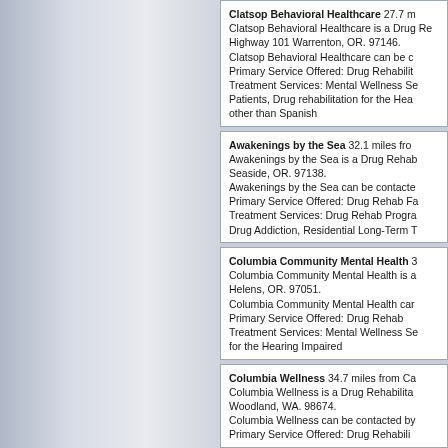Clatsop Behavioral Healthcare 27.7 m... Clatsop Behavioral Healthcare is a Drug... Highway 101 Warrenton, OR. 97146. Clatsop Behavioral Healthcare can be c... Primary Service Offered: Drug Rehabilit... Treatment Services: Mental Wellness Se... Patients, Drug rehabilitation for the Hea... other than Spanish
Awakenings by the Sea 32.1 miles fro... Awakenings by the Sea is a Drug Rehab... Seaside, OR. 97138. Awakenings by the Sea can be contacte... Primary Service Offered: Drug Rehab Fa... Treatment Services: Drug Rehab Progra... Drug Addiction, Residential Long-Term T...
Columbia Community Mental Health 3... Columbia Community Mental Health is a... Helens, OR. 97051. Columbia Community Mental Health car... Primary Service Offered: Drug Rehab... Treatment Services: Mental Wellness Se... for the Hearing Impaired
Columbia Wellness 34.7 miles from Ca... Columbia Wellness is a Drug Rehabilita... Woodland, WA. 98674. Columbia Wellness can be contacted by... Primary Service Offered: Drug Rehabili...